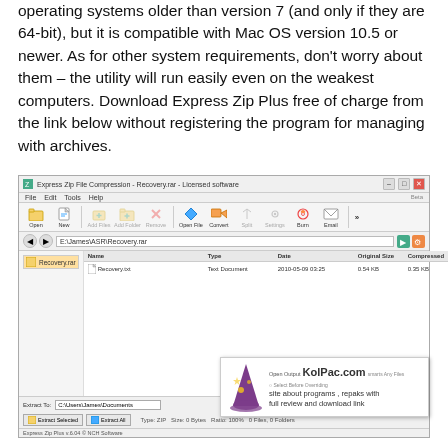operating systems older than version 7 (and only if they are 64-bit), but it is compatible with Mac OS version 10.5 or newer. As for other system requirements, don't worry about them – the utility will run easily even on the weakest computers. Download Express Zip Plus free of charge from the link below without registering the program for managing with archives.
[Figure (screenshot): Screenshot of Express Zip File Compression application window showing a Recovery.rar archive with one file (Recovery.txt, Text Document, 2010-05-09 03:25, 0.54 KB original, 0.35 KB compressed). Bottom shows Extract To field with C:\Users\James\Documents path, Extract Selected and Extract All buttons, Type: ZIP, Size: 0 Bytes, Ratio: 100%, 0 Files, 0 Folders. Overlaid with KolPac.com promotional banner featuring a wizard illustration.]